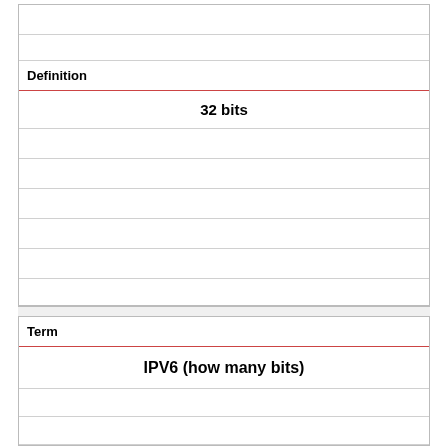Definition
32 bits
Term
IPV6 (how many bits)